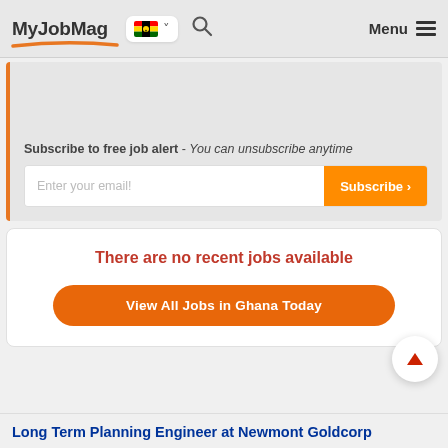MyJobMag — Ghana job portal navigation header with logo, flag selector, search icon, and menu
Subscribe to free job alert - You can unsubscribe anytime
Enter your email! Subscribe >
There are no recent jobs available
View All Jobs in Ghana Today
Long Term Planning Engineer at Newmont Goldcorp